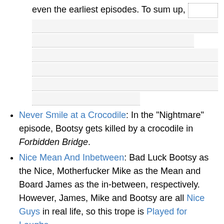even the earliest episodes. To sum up,
Never Smile at a Crocodile: In the "Nightmare" episode, Bootsy gets killed by a crocodile in Forbidden Bridge.
Nice Mean And Inbetween: Bad Luck Bootsy as the Nice, Motherfucker Mike as the Mean and Board James as the in-between, respectively. However, James, Mike and Bootsy are all Nice Guys in real life, so this trope is Played for Laughs.
Nightmare Fuel Coloring Book: The Deadly Danger Dungeon board.
Nintendo Hard: The difficulty level of the original Deadly